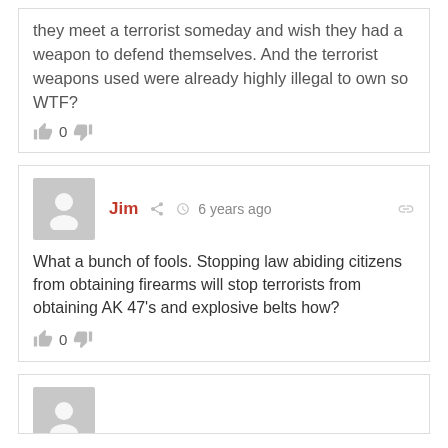they meet a terrorist someday and wish they had a weapon to defend themselves. And the terrorist weapons used were already highly illegal to own so
WTF?
👍 0 👎
Jim  6 years ago
What a bunch of fools. Stopping law abiding citizens from obtaining firearms will stop terrorists from obtaining AK 47's and explosive belts how?
👍 0 👎